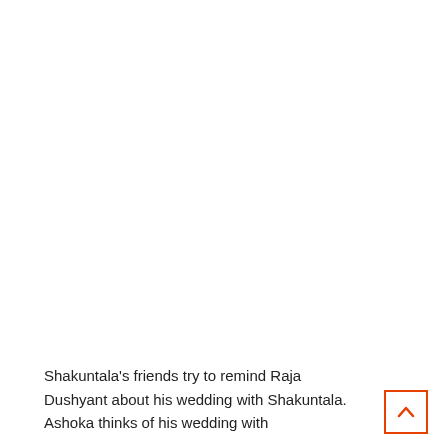Shakuntala's friends try to remind Raja Dushyant about his wedding with Shakuntala. Ashoka thinks of his wedding with